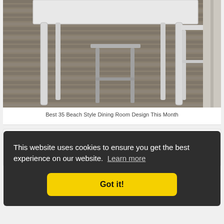[Figure (photo): Outdoor deck with a white dining table and chairs alongside a metal stool on grey wood planks]
Best 35 Beach Style Dining Room Design This Month
This website uses cookies to ensure you get the best experience on our website. Learn more
Got it!